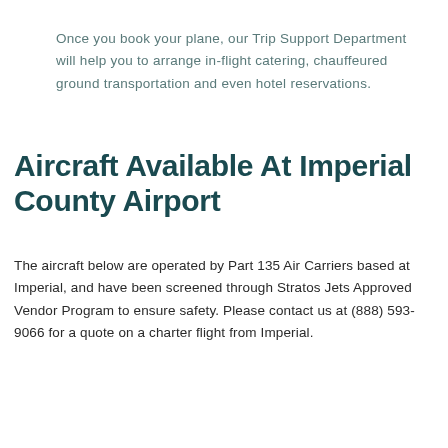Once you book your plane, our Trip Support Department will help you to arrange in-flight catering, chauffeured ground transportation and even hotel reservations.
Aircraft Available At Imperial County Airport
The aircraft below are operated by Part 135 Air Carriers based at Imperial, and have been screened through Stratos Jets Approved Vendor Program to ensure safety. Please contact us at (888) 593-9066 for a quote on a charter flight from Imperial.